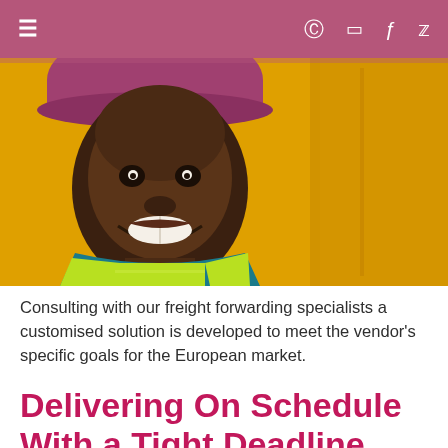≡  © in f 𝕩
[Figure (photo): A smiling man wearing a yellow high-visibility vest and a purple hard hat, photographed against a yellow background. He appears to be a logistics or freight worker.]
Consulting with our freight forwarding specialists a customised solution is developed to meet the vendor's specific goals for the European market.
Delivering On Schedule With a Tight Deadline